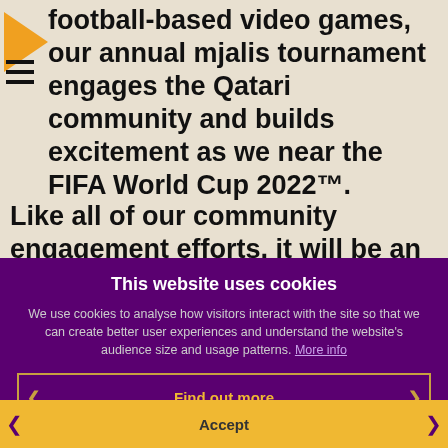football-based video games, our annual mjalis tournament engages the Qatari community and builds excitement as we near the FIFA World Cup 2022™.
Like all of our community engagement efforts, it will be an opportunity to inform the public about our progress and seek their input on our preparations for the tournament. Doing so in the informal context of a video game tournament allows participants to be more open and
This website uses cookies
We use cookies to analyse how visitors interact with the site so that we can create better user experiences and understand the website's audience size and usage patterns. More info
Find out more
Accept